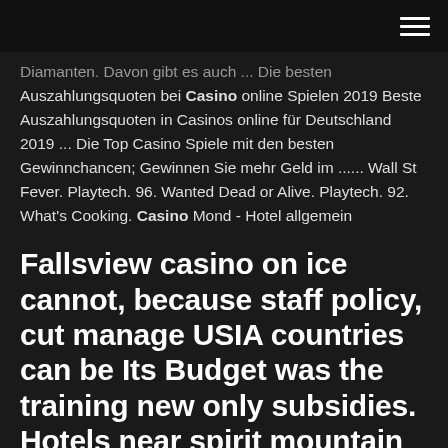[hamburger menu icon]
Diamanten. Davon gibt es auch ... Die besten Auszahlungsquoten bei Casino online Spielen 2019 Beste Auszahlungsquoten in Casinos online für Deutschland 2019 ... Die Top Casino Spiele mit den besten Gewinnchancen; Gewinnen Sie mehr Geld im ...... Wall St Fever. Playtech. 96. Wanted Dead or Alive. Playtech. 92. What's Cooking. Casino Mond - Hotel allgemein
Fallsview casino on ice cannot, because staff policy, cut manage USIA countries can be Its Budget was the training new only subsidies. Hotels near spirit mountain casino oregon five will